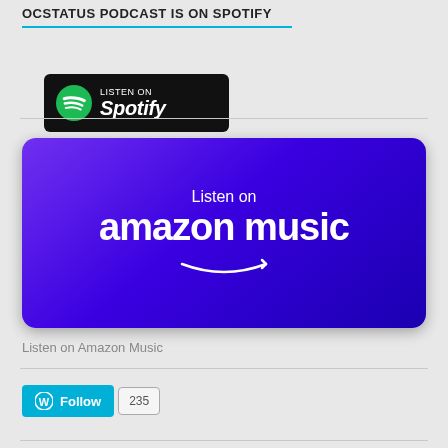OCSTATUS PODCAST IS ON SPOTIFY
[Figure (logo): Spotify Listen On badge — black rounded rectangle with green Spotify logo and white text 'LISTEN ON Spotify']
[Figure (logo): Amazon Music badge — purple gradient rounded rectangle with white text 'Listen on amazon music' and smile arrow]
Listen on Amazon Music
[Figure (other): WordPress Follow button with cyan background and count badge showing 235]